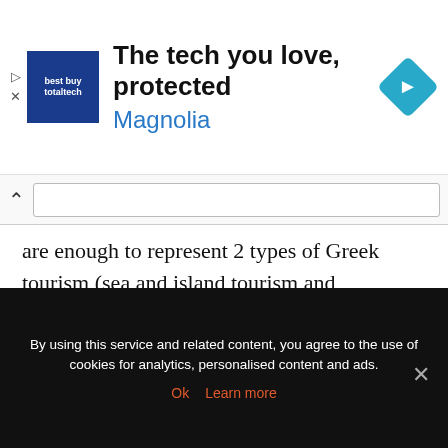[Figure (screenshot): Advertisement banner for Magnolia featuring 'The tech you love, protected' headline with a blue logo box and a teal diamond navigation icon]
are enough to represent 2 types of Greek tourism (sea and island tourism and discovery tourism). Adding one more island or discovery place will quickly get bored.
Here is my Greece travel itinerary for you refer:
Day 1: Santorini (arrival at night)
Day 2: Santorini
By using this service and related content, you agree to the use of cookies for analytics, personalised content and ads.